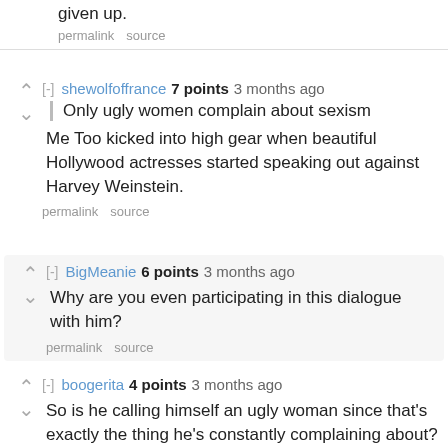given up.
permalink   source
[-] shewolfoffrance 7 points 3 months ago
Only ugly women complain about sexism
Me Too kicked into high gear when beautiful Hollywood actresses started speaking out against Harvey Weinstein.
permalink   source
[-] BigMeanie 6 points 3 months ago
Why are you even participating in this dialogue with him?
permalink   source
[-] boogerita 4 points 3 months ago
So is he calling himself an ugly woman since that's exactly the thing he's constantly complaining about?